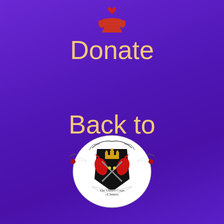[Figure (illustration): Red donate hand icon with heart drop above, on purple background]
Donate
Back to Top
[Figure (logo): Heraldic crest/coat of arms for 'The United Court of Jesters' featuring a black shield with red dragons, crown, crossed swords, white circular surround with scrollwork, and a banner reading 'The United Court of Jesters']